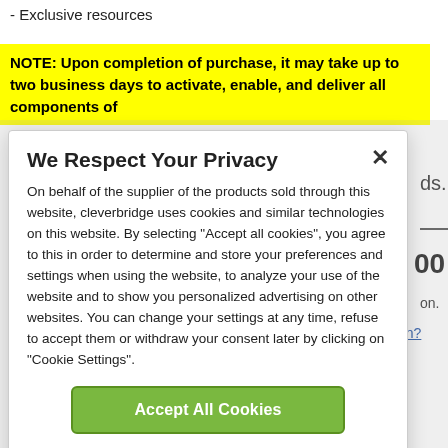- Exclusive resources
NOTE: Upon completion of purchase, it may take up to two business days to activate, enable, and deliver all components of
We Respect Your Privacy
On behalf of the supplier of the products sold through this website, cleverbridge uses cookies and similar technologies on this website. By selecting "Accept all cookies", you agree to this in order to determine and store your preferences and settings when using the website, to analyze your use of the website and to show you personalized advertising on other websites. You can change your settings at any time, refuse to accept them or withdraw your consent later by clicking on "Cookie Settings".
Accept All Cookies
Cookie Settings